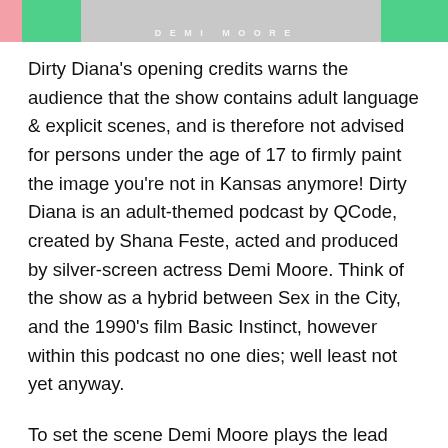[Figure (photo): Top banner image showing partial view of Demi Moore podcast cover art with pink and green background colors and text 'DEMI MOORE' in light letters]
Dirty Diana's opening credits warns the audience that the show contains adult language & explicit scenes, and is therefore not advised for persons under the age of 17 to firmly paint the image you're not in Kansas anymore! Dirty Diana is an adult-themed podcast by QCode, created by Shana Feste, acted and produced by silver-screen actress Demi Moore. Think of the show as a hybrid between Sex in the City, and the 1990's film Basic Instinct, however within this podcast no one dies; well least not yet anyway.
To set the scene Demi Moore plays the lead character Diana, who on the surface appears to be your stereotypical wife/mom living in